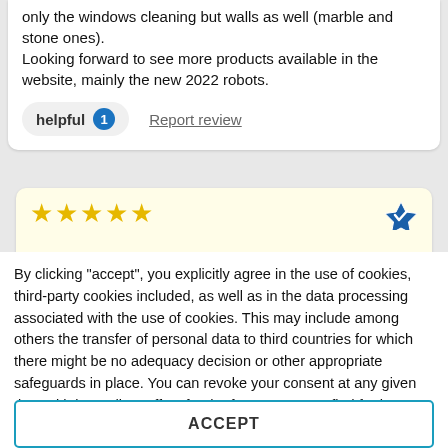only the windows cleaning but walls as well (marble and stone ones).
Looking forward to see more products available in the website, mainly the new 2022 robots.
helpful 1   Report review
[Figure (other): Five gold star rating icons with a verified purchase icon on the right]
By clicking "accept", you explicitly agree in the use of cookies, third-party cookies included, as well as in the data processing associated with the use of cookies. This may include among others the transfer of personal data to third countries for which there might be no adequacy decision or other appropriate safeguards in place. You can revoke your consent at any given time with immediate effect for the future. You can find further information on the data processing purposes, opt-out options, your rights, and the risks of data transfers to third countries here.
ACCEPT